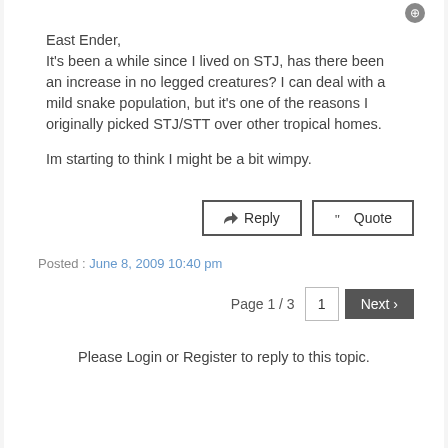East Ender,
It's been a while since I lived on STJ, has there been an increase in no legged creatures? I can deal with a mild snake population, but it's one of the reasons I originally picked STJ/STT over other tropical homes.

Im starting to think I might be a bit wimpy.
Posted : June 8, 2009 10:40 pm
Page 1 / 3  1  Next
Please Login or Register to reply to this topic.